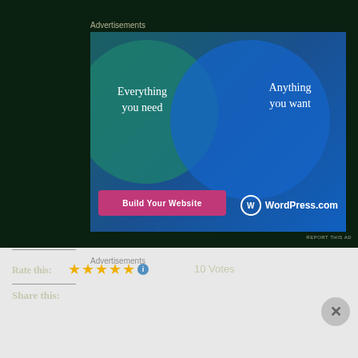Advertisements
[Figure (illustration): WordPress.com advertisement banner showing a Venn diagram with two overlapping circles. Left circle (teal/green) reads 'Everything you need', right circle (blue) reads 'Anything you want'. Below is a pink 'Build Your Website' button and WordPress.com logo.]
REPORT THIS AD
Rate this:  ★★★★★  10 Votes
Advertisements
REPORT THIS AD